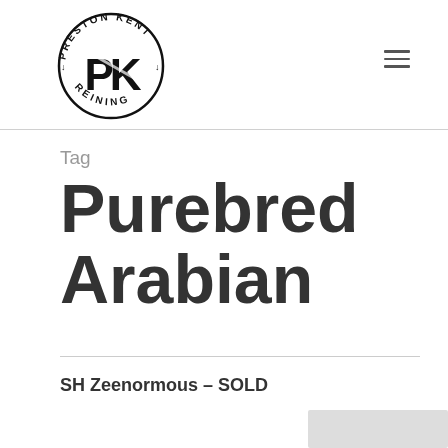[Figure (logo): Preston Kent Reining circular logo with stylized PK letters in center, text around the circle reads PRESTON KENT REINING]
Tag
Purebred Arabian
SH Zeenormous – SOLD